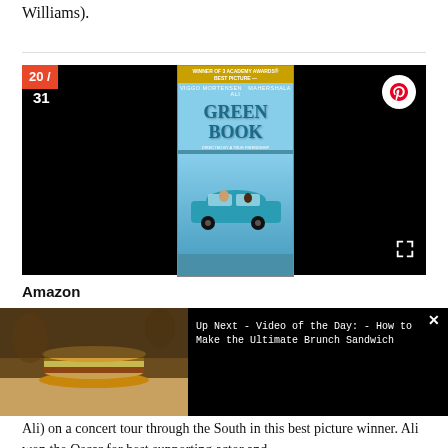Williams).
[Figure (screenshot): Media player showing Green Book movie cover (Winner of 3 Academy Awards, Best Picture) with counter badge showing 20/31. Pinterest button and expand icon visible. Black background.]
Amazon
[Figure (screenshot): Video advertisement overlay showing a sandwich image on left, 'Ad 1 of 1 (0:15)' label, X close button, and text 'Up Next - Video of the Day: - How to Make the Ultimate Brunch Sandwich' on black right panel.]
Ali) on a concert tour through the South in this best picture winner. Ali won the Oscar for best supporting actor and